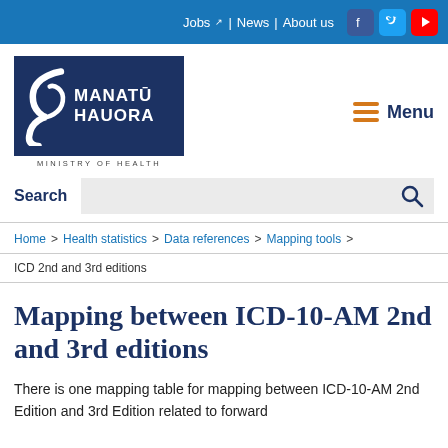Jobs | News | About us
[Figure (logo): Manatū Hauora Ministry of Health logo — dark blue box with stylized white swirl and white text MANATŪ HAUORA, with MINISTRY OF HEALTH below]
Menu
Search
Home > Health statistics > Data references > Mapping tools >
ICD 2nd and 3rd editions
Mapping between ICD-10-AM 2nd and 3rd editions
There is one mapping table for mapping between ICD-10-AM 2nd Edition and 3rd Edition related to forward